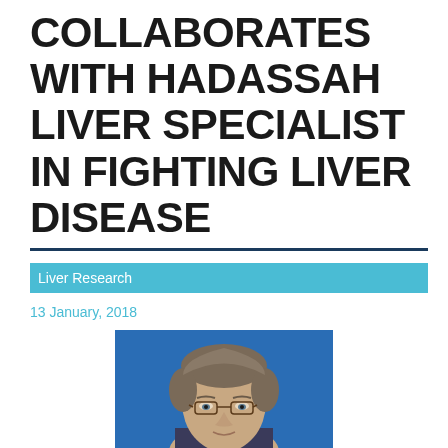COLLABORATES WITH HADASSAH LIVER SPECIALIST IN FIGHTING LIVER DISEASE
Liver Research
13 January, 2018
[Figure (photo): Headshot of a middle-aged man with gray-brown hair and glasses, against a blue background]